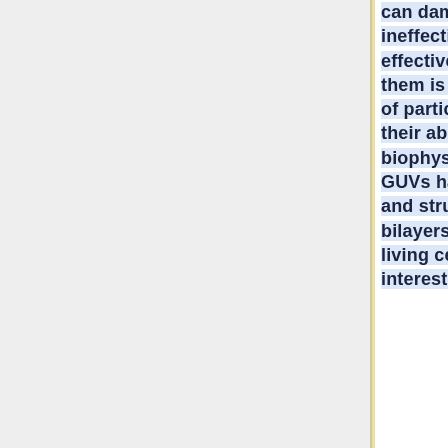can damage them so are ineffective. Thus having an effective way to separate them is desirable. GUVs are of particular interest due to their ability to model biophysical systems since GUVs have similar sizes and structures (e.g. lipid bilayers, membranes) as living cells. There is also interest in using